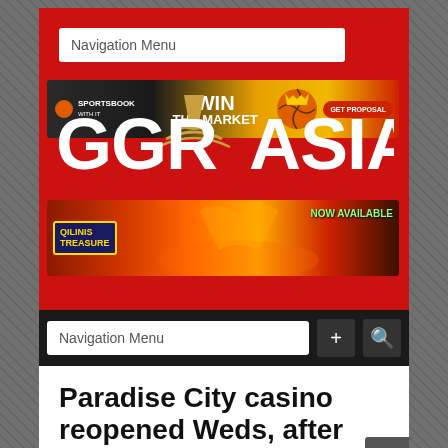[Figure (screenshot): Mobile website screenshot of GGR Asia showing navigation bar, sportsbook advertisement banner, GGR Asia logo on red background, Qilinis Treasure game advertisement, bottom navigation bar, and beginning of article titled 'Paradise City casino reopened Weds, after staff']
Navigation Menu
[Figure (photo): Sportsbook advertisement banner: WIN THE MARKET with GET PROPOSAL button]
GGRASIA
[Figure (photo): Qilinis Treasure game advertisement banner - NOW AVAILABLE]
Navigation Menu
Paradise City casino reopened Weds, after staff